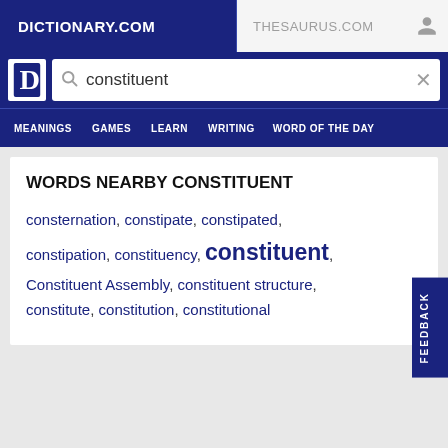DICTIONARY.COM | THESAURUS.COM
[Figure (screenshot): Dictionary.com search bar with logo and search term 'constituent']
MEANINGS  GAMES  LEARN  WRITING  WORD OF THE DAY
WORDS NEARBY CONSTITUENT
consternation, constipate, constipated, constipation, constituency, constituent, Constituent Assembly, constituent structure, constitute, constitution, constitutional